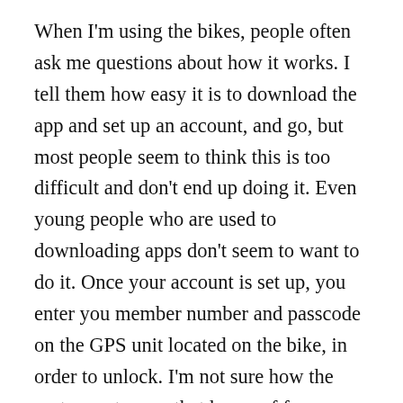When I'm using the bikes, people often ask me questions about how it works. I tell them how easy it is to download the app and set up an account, and go, but most people seem to think this is too difficult and don't end up doing it. Even young people who are used to downloading apps don't seem to want to do it. Once your account is set up, you enter you member number and passcode on the GPS unit located on the bike, in order to unlock. I'm not sure how the system gets over that hump of few members. I have noticed that users of the Bay Area Ford GoBike are mostly using their Clipper Cards (equivalent to the ConnectCard) to unlock bikes, rather than using the application, though the charge is to the GoBike